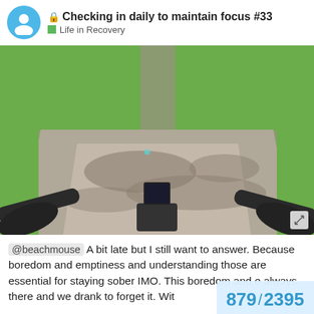🔒 Checking in daily to maintain focus #33
Life in Recovery
[Figure (photo): Point-of-view photo taken from a bicycle, showing road bike handlebars and a cycling computer mounted on the handlebar, with a sunlit paved bike path ahead bordered by green grass and tree shadows.]
@beachmouse A bit late but I still want to answer. Because boredom and emptiness and understanding those are essential for staying sober IMO. This boredom and e always there and we drank to forget it. Wit
879 / 2395